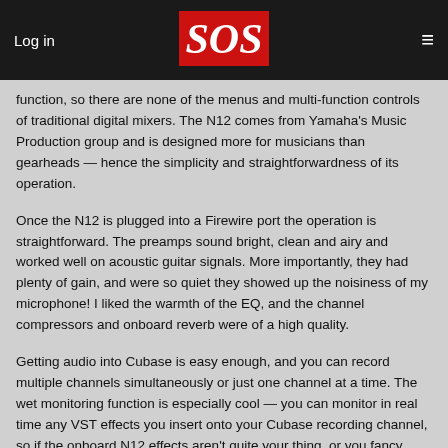Log in | SOS | ≡
function, so there are none of the menus and multi-function controls of traditional digital mixers. The N12 comes from Yamaha's Music Production group and is designed more for musicians than gearheads — hence the simplicity and straightforwardness of its operation.
Once the N12 is plugged into a Firewire port the operation is straightforward. The preamps sound bright, clean and airy and worked well on acoustic guitar signals. More importantly, they had plenty of gain, and were so quiet they showed up the noisiness of my microphone! I liked the warmth of the EQ, and the channel compressors and onboard reverb were of a high quality.
Getting audio into Cubase is easy enough, and you can record multiple channels simultaneously or just one channel at a time. The wet monitoring function is especially cool — you can monitor in real time any VST effects you insert onto your Cubase recording channel, so if the onboard N12 effects aren't quite your thing, or you fancy recording your guitar dry but want to monitor via an amp sim, then this is